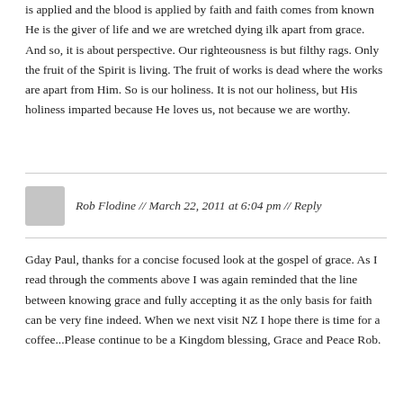is applied and the blood is applied by faith and faith comes from known He is the giver of life and we are wretched dying ilk apart from grace. And so, it is about perspective. Our righteousness is but filthy rags. Only the fruit of the Spirit is living. The fruit of works is dead where the works are apart from Him. So is our holiness. It is not our holiness, but His holiness imparted because He loves us, not because we are worthy.
Rob Flodine // March 22, 2011 at 6:04 pm // Reply
Gday Paul, thanks for a concise focused look at the gospel of grace. As I read through the comments above I was again reminded that the line between knowing grace and fully accepting it as the only basis for faith can be very fine indeed. When we next visit NZ I hope there is time for a coffee...Please continue to be a Kingdom blessing, Grace and Peace Rob.